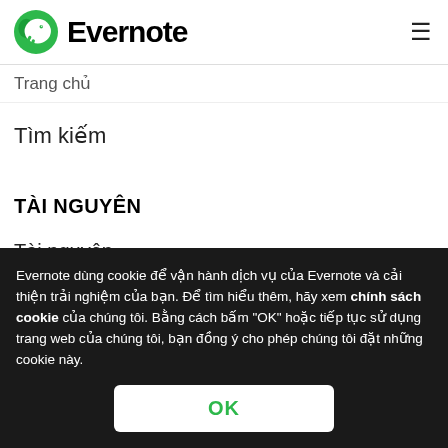Evernote
Trang chủ
Tìm kiếm
TÀI NGUYÊN
Tài nguyên
Evernote dùng cookie để vận hành dịch vụ của Evernote và cải thiện trải nghiệm của bạn. Để tìm hiểu thêm, hãy xem chính sách cookie của chúng tôi. Bằng cách bấm "OK" hoặc tiếp tục sử dụng trang web của chúng tôi, bạn đồng ý cho phép chúng tôi đặt những cookie này.
OK